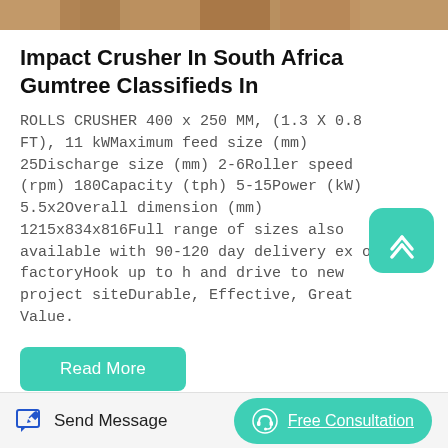[Figure (photo): Top portion of an image showing crushed rock or gravel, brownish-tan in color]
Impact Crusher In South Africa Gumtree Classifieds In
ROLLS CRUSHER 400 x 250 MM, (1.3 X 0.8 FT), 11 kWMaximum feed size (mm) 25Discharge size (mm) 2-6Roller speed (rpm) 180Capacity (tph) 5-15Power (kW) 5.5x2Overall dimension (mm) 1215x834x816Full range of sizes also available with 90-120 day delivery ex our factoryHook up to h and drive to new project siteDurable, Effective, Great Value.
[Figure (other): Teal/turquoise rounded square scroll-to-top button with an upward-pointing chevron icon]
Read More
Recent Posts
Send Message
Free Consultation